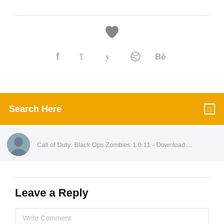[Figure (other): Heart/like icon (filled heart shape in gray)]
[Figure (other): Social sharing icons: Facebook (f), Twitter (bird), Dribbble (basketball), Behance (Be)]
Search Here
Call of Duty: Black Ops Zombies 1.0.11 - Download ...
Leave a Reply
Write Comment